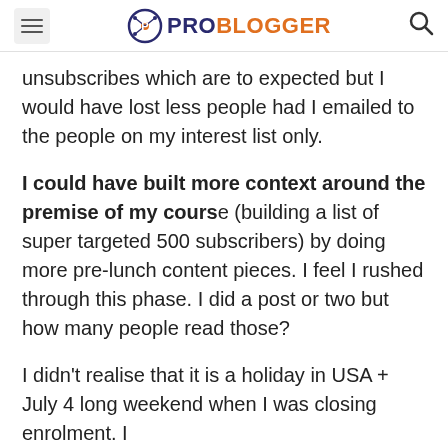ProBlogger
unsubscribes which are to expected but I would have lost less people had I emailed to the people on my interest list only.
I could have built more context around the premise of my course (building a list of super targeted 500 subscribers) by doing more pre-lunch content pieces. I feel I rushed through this phase. I did a post or two but how many people read those?
I didn't realise that it is a holiday in USA + July 4 long weekend when I was closing enrolment. I